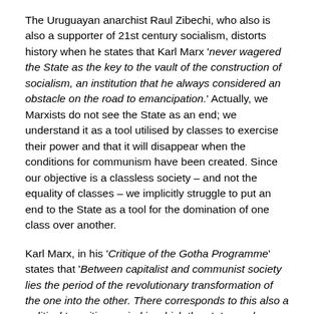The Uruguayan anarchist Raul Zibechi, who also is also a supporter of 21st century socialism, distorts history when he states that Karl Marx 'never wagered the State as the key to the vault of the construction of socialism, an institution that he always considered an obstacle on the road to emancipation.' Actually, we Marxists do not see the State as an end; we understand it as a tool utilised by classes to exercise their power and that it will disappear when the conditions for communism have been created. Since our objective is a classless society – and not the equality of classes – we implicitly struggle to put an end to the State as a tool for the domination of one class over another.
Karl Marx, in his 'Critique of the Gotha Programme' states that 'Between capitalist and communist society lies the period of the revolutionary transformation of the one into the other. There corresponds to this also a political transition period in which the state can be nothing but the revolutionary dictatorship of the proletariat,'20 to which one should add the following formulation of Lenin: 'Marxism differs from anarchism in that it recognises the need for a state and for state power in the period of revolutionary, and in the period of transition from...